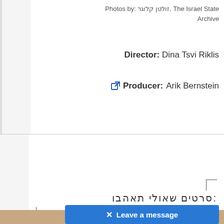Photos by: זולטן קלוגר, The Israel State Archive
Director: Dina Tsvi Riklis
Producer: Arik Bernstein
סרטים שאולי תאהבו:
[Figure (photo): Partial photo visible at bottom of page showing warm-toned image]
✕ Leave a message